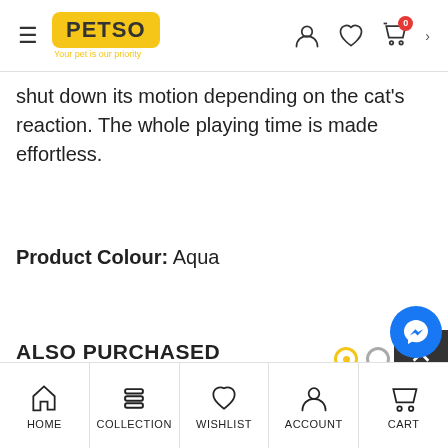PETSO - Your pet is our priority
shut down its motion depending on the cat's reaction. The whole playing time is made effortless.
Product Colour: Aqua
ALSO PURCHASED
HOME | COLLECTION | WISHLIST | ACCOUNT | CART